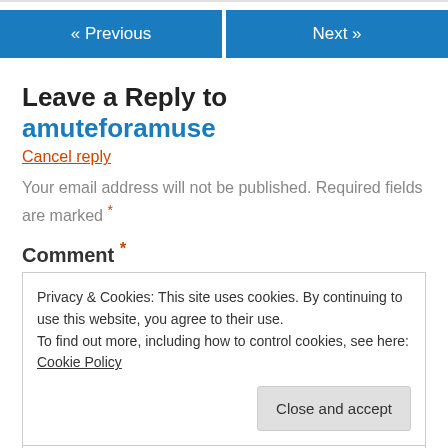« Previous   Next »
Leave a Reply to amuteforamuse
Cancel reply
Your email address will not be published. Required fields are marked *
Comment *
Privacy & Cookies: This site uses cookies. By continuing to use this website, you agree to their use.
To find out more, including how to control cookies, see here: Cookie Policy
Close and accept